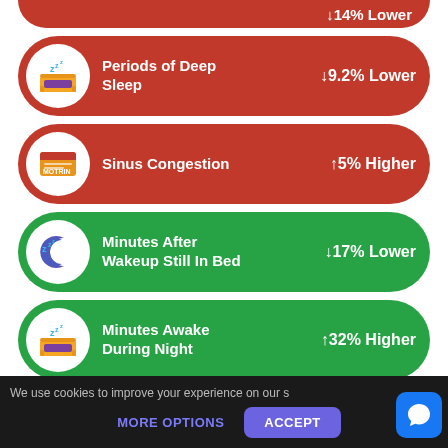Minutes Asleep ↓14% Lower (partial, top clipped)
Periods of Deep Sleep ↓9.2% Lower
Sinus Congestion ↑5% Higher
Minutes After Wakeup Still In Bed ↓17% Lower
Minutes Awake During Night ↑32% Higher
Light Sleep Duration ↑5.5% Higher
We use cookies to improve your experience on our s
MORE OPTIONS   ACCEPT